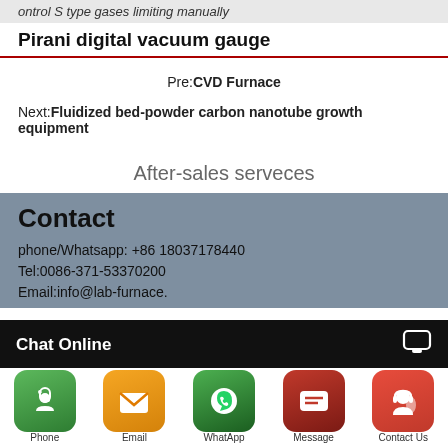ontrol S type gases limiting manually
Pirani digital vacuum gauge
Pre:CVD Furnace
Next:Fluidized bed-powder carbon nanotube growth equipment
After-sales serveces
Contact
phone/Whatsapp: +86 18037178440
Tel:0086-371-53370200
Email:info@lab-furnace.
Chat Online
[Figure (infographic): Bottom icon bar with 5 contact icons: Phone (green), Email (orange), WhatsApp (green), Message (red), Contact Us (red/orange). Below the chat bar.]